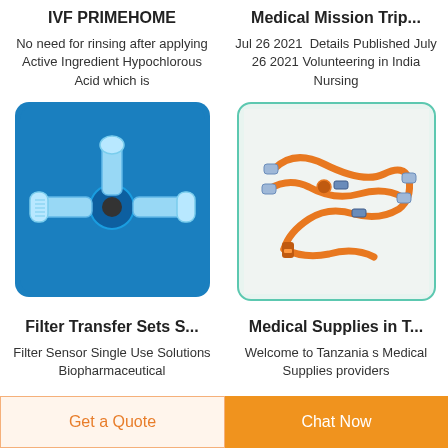IVF PRIMEHOME
No need for rinsing after applying Active Ingredient Hypochlorous Acid which is
Medical Mission Trip...
Jul 26 2021  Details Published July 26 2021 Volunteering in India Nursing
[Figure (photo): Blue medical stopcock/filter transfer set device on blue background]
[Figure (photo): Orange medical IV infusion tubing set on light background]
Filter Transfer Sets S...
Filter Sensor Single Use Solutions Biopharmaceutical
Medical Supplies in T...
Welcome to Tanzania s Medical Supplies providers